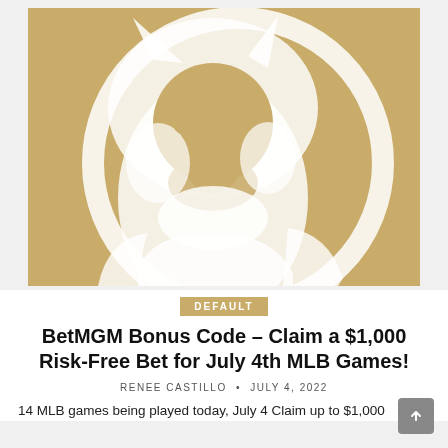[Figure (logo): BetMGM lion logo on gold/tan background — white silhouette of a roaring lion's head with circular ring, large cropped image]
DEFAULT
BetMGM Bonus Code – Claim a $1,000 Risk-Free Bet for July 4th MLB Games!
RENEE CASTILLO • JULY 4, 2022
14 MLB games being played today, July 4 Claim up to $1,000